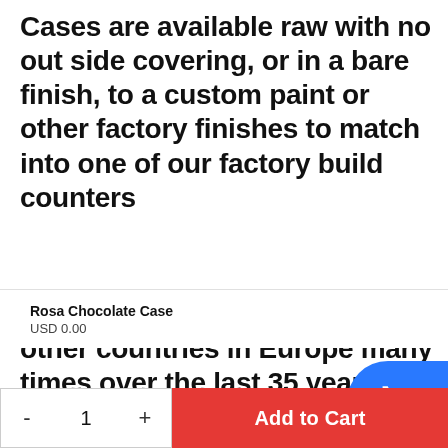Cases are available raw with no out side covering, or in a bare finish, to a custom paint or other factory finishes to match into one of our factory build counters
We have traveled to Italy and other countries in Europe many times over the last 35 years, working with manufactures and users of display
Rosa Chocolate Case
USD 0.00
- 1 + Add to Cart